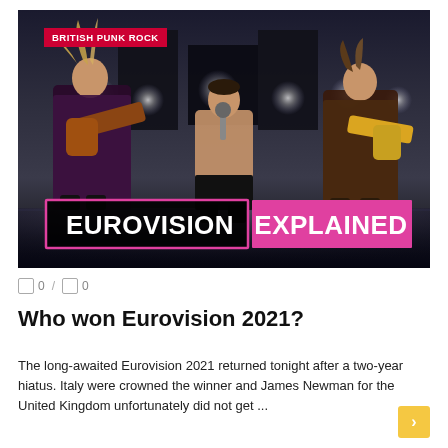[Figure (photo): Three rock band members performing on a Eurovision stage with dramatic lighting. Left member plays guitar in sequined outfit with flowing hair, center member sings shirtless with microphone, right member plays guitar in ornate jacket. Overlay text reads EUROVISION EXPLAINED.]
BRITISH PUNK ROCK
□ 0  /  □ 0
Who won Eurovision 2021?
The long-awaited Eurovision 2021 returned tonight after a two-year hiatus. Italy were crowned the winner and James Newman for the United Kingdom unfortunately did not get ...